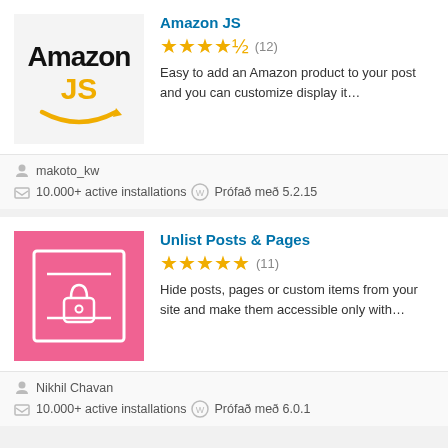[Figure (logo): Amazon JS plugin logo with Amazon wordmark in black and JS in orange with arrow]
Amazon JS
★★★★½ (12)
Easy to add an Amazon product to your post and you can customize display it…
makoto_kw
10.000+ active installations  Prófað með 5.2.15
[Figure (logo): Unlist Posts & Pages plugin logo: pink/salmon background with white lock icon]
Unlist Posts & Pages
★★★★★ (11)
Hide posts, pages or custom items from your site and make them accessible only with…
Nikhil Chavan
10.000+ active installations  Prófað með 6.0.1